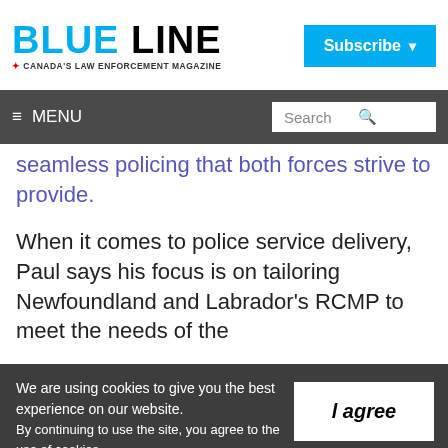BLUE LINE — Canada's Law Enforcement Magazine
seamless policing that both forces strive to provide.
When it comes to police service delivery, Paul says his focus is on tailoring Newfoundland and Labrador's RCMP to meet the needs of the
We are using cookies to give you the best experience on our website. By continuing to use the site, you agree to the use of cookies. To find out more, read our privacy policy.